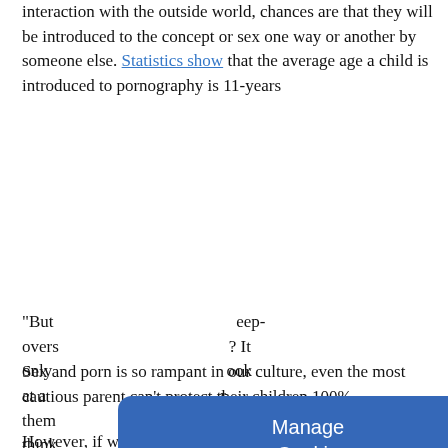interaction with the outside world, chances are that they will be introduced to the concept or sex one way or another by someone else. Statistics show that the average age a child is introduced to pornography is 11-years
[Figure (screenshot): Cookie consent modal dialog with blue background. Title: 'Manage Cookie Consent'. Description: 'We use cookies to optimize our website and our service.' Buttons: 'Accept', links: 'Cookie Policy', 'Privacy Policy']
"But ... sleep-oversized... ? It only ... look at a ... or them... think... accidentally
Sex and porn is so rampant in our culture, even the most cautious parent can't protect their children 100%.
However, if we begin to introduce these topics early, in